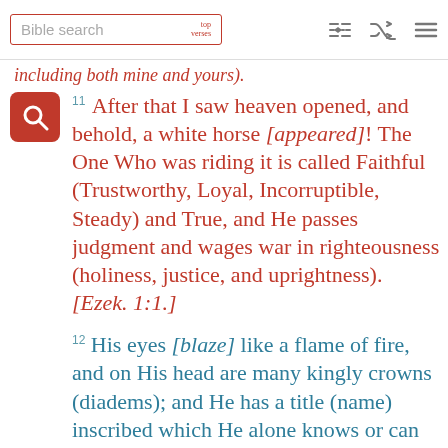Bible search | top verses | shuffle | menu
including both mine and yours).
11 After that I saw heaven opened, and behold, a white horse [appeared]! The One Who was riding it is called Faithful (Trustworthy, Loyal, Incorruptible, Steady) and True, and He passes judgment and wages war in righteousness (holiness, justice, and uprightness). [Ezek. 1:1.]
12 His eyes [blaze] like a flame of fire, and on His head are many kingly crowns (diadems); and He has a title (name) inscribed which He alone knows or can understand. [Dan. 10:6.]